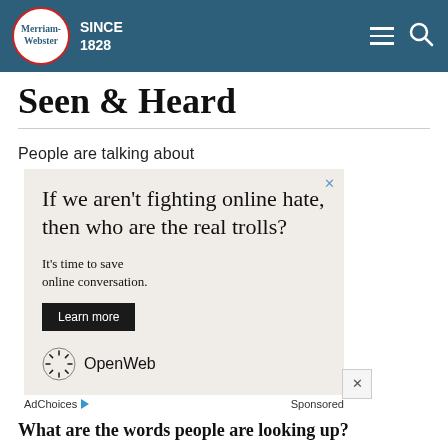Merriam-Webster SINCE 1828
Seen & Heard
People are talking about
[Figure (other): Advertisement box with text: 'If we aren't fighting online hate, then who are the real trolls? It's time to save online conversation. Learn more' — OpenWeb brand ad with black Learn more button and OpenWeb logo/name. AdChoices and Sponsored labels below.]
What are the words people are looking up?